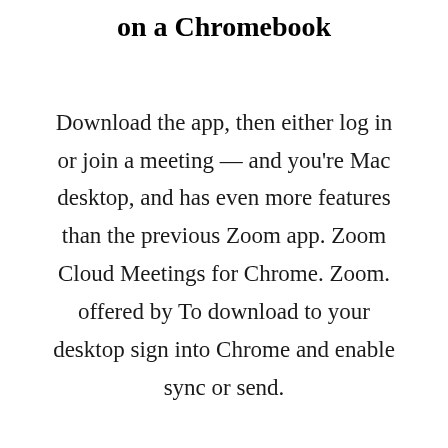on a Chromebook
Download the app, then either log in or join a meeting — and you're Mac desktop, and has even more features than the previous Zoom app. Zoom Cloud Meetings for Chrome. Zoom. offered by To download to your desktop sign into Chrome and enable sync or send.